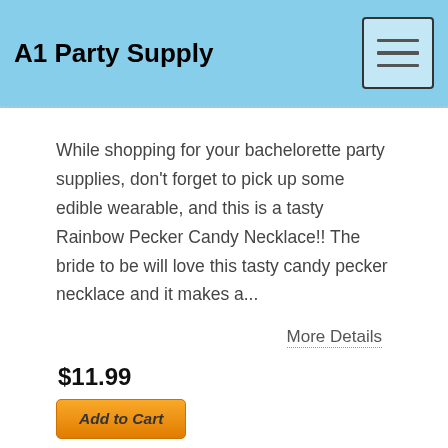A1 Party Supply
While shopping for your bachelorette party supplies, don't forget to pick up some edible wearable, and this is a tasty Rainbow Pecker Candy Necklace!! The bride to be will love this tasty candy pecker necklace and it makes a...
More Details
$11.99
Add to Cart
[Figure (photo): Partial view of a colorful round candy product with green and yellow packaging, visible at the bottom of the page.]